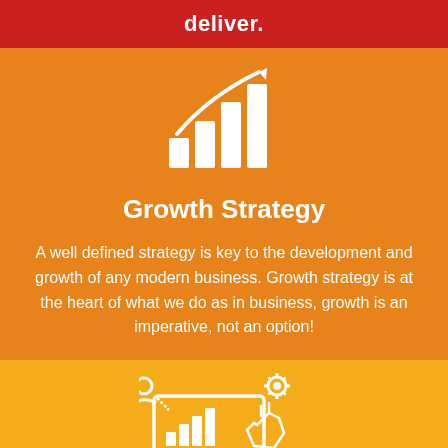deliver.
[Figure (illustration): White bar chart icon with upward trending arrow, on orange background]
Growth Strategy
A well defined strategy is key to the development and growth of any modern business. Growth strategy is at the heart of what we do as in business, growth is an imperative, not an option!
[Figure (illustration): White icon showing person with gear/settings and analytics dashboard with pointing hand, on yellow/gold background]